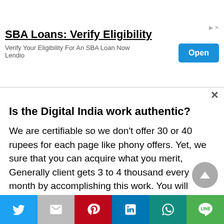[Figure (screenshot): Advertisement banner for SBA Loans by Lendio with 'Open' button]
Is the Digital India work authentic?
We are certifiable so we don't offer 30 or 40 rupees for each page like phony offers. Yet, we sure that you can acquire what you merit, Generally client gets 3 to 4 thousand every month by accomplishing this work. You will acquire as much you work.
Is an advanced typing position real?
[Figure (infographic): Social share bar with Twitter, Gmail, Pinterest, LinkedIn, WhatsApp, and Line buttons]